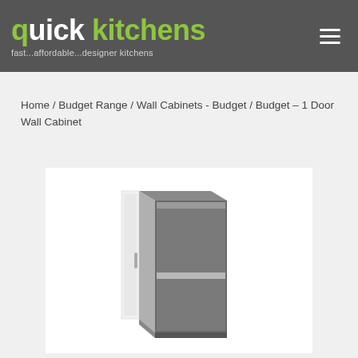quick kitchens — fast...affordable...designer kitchens
Home / Budget Range / Wall Cabinets - Budget / Budget – 1 Door Wall Cabinet
[Figure (illustration): 3D rendering of a Budget 1 Door Wall Cabinet shown open, with a single shelf inside, dark grey exterior and white interior/door]